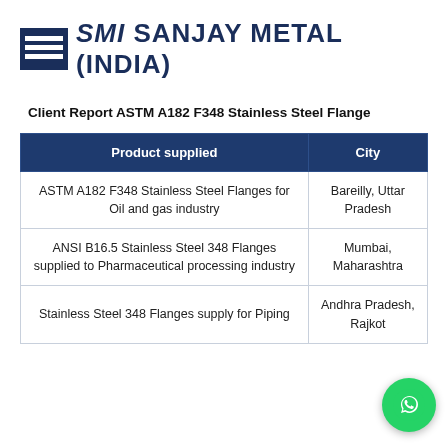[Figure (logo): SMI Sanjay Metal India logo with blue square icon and company name]
Client Report ASTM A182 F348 Stainless Steel Flange
| Product supplied | City |
| --- | --- |
| ASTM A182 F348 Stainless Steel Flanges for Oil and gas industry | Bareilly, Uttar Pradesh |
| ANSI B16.5 Stainless Steel 348 Flanges supplied to Pharmaceutical processing industry | Mumbai, Maharashtra |
| Stainless Steel 348 Flanges supply for Piping | Andhra Pradesh, Rajkot |